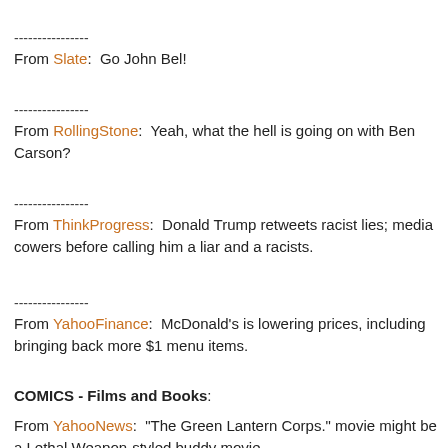---------------- From Slate:  Go John Bel!
---------------- From RollingStone:  Yeah, what the hell is going on with Ben Carson?
---------------- From ThinkProgress:  Donald Trump retweets racist lies; media cowers before calling him a liar and a racists.
---------------- From YahooFinance:  McDonald's is lowering prices, including bringing back more $1 menu items.
COMICS - Films and Books:
From YahooNews:  "The Green Lantern Corps." movie might be a Lethal Weapon-styled buddy movie.